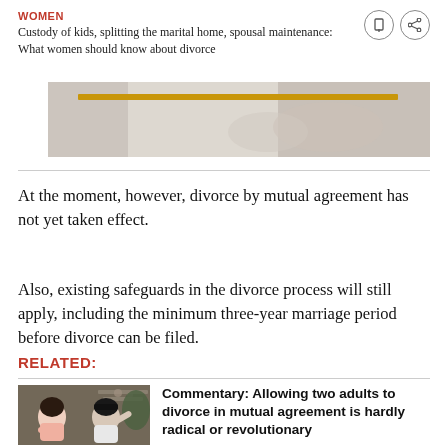WOMEN
Custody of kids, splitting the marital home, spousal maintenance: What women should know about divorce
[Figure (photo): Cropped photo of a couple, with a gold/yellow horizontal stripe, suggesting a marital or relationship context]
At the moment, however, divorce by mutual agreement has not yet taken effect.
Also, existing safeguards in the divorce process will still apply, including the minimum three-year marriage period before divorce can be filed.
RELATED:
[Figure (photo): A couple sitting with their backs to each other, appearing to be in an argument or estrangement, in a home setting]
Commentary: Allowing two adults to divorce in mutual agreement is hardly radical or revolutionary